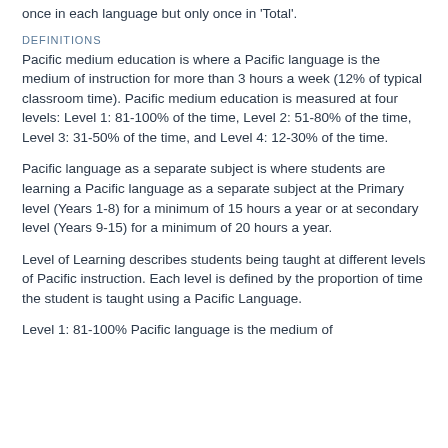once in each language but only once in 'Total'.
DEFINITIONS
Pacific medium education is where a Pacific language is the medium of instruction for more than 3 hours a week (12% of typical classroom time). Pacific medium education is measured at four levels: Level 1: 81-100% of the time, Level 2: 51-80% of the time, Level 3: 31-50% of the time, and Level 4: 12-30% of the time.
Pacific language as a separate subject is where students are learning a Pacific language as a separate subject at the Primary level (Years 1-8) for a minimum of 15 hours a year or at secondary level (Years 9-15) for a minimum of 20 hours a year.
Level of Learning describes students being taught at different levels of Pacific instruction. Each level is defined by the proportion of time the student is taught using a Pacific Language.
Level 1: 81-100% Pacific language is the medium of